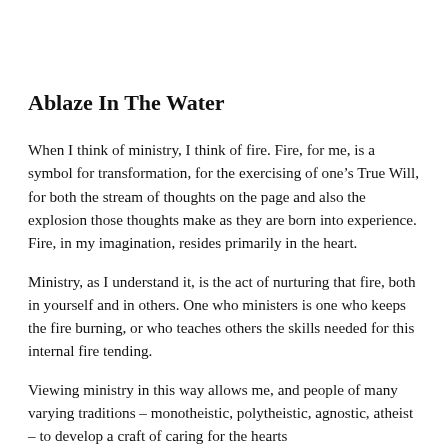Ablaze In The Water
When I think of ministry, I think of fire. Fire, for me, is a symbol for transformation, for the exercising of one’s True Will, for both the stream of thoughts on the page and also the explosion those thoughts make as they are born into experience. Fire, in my imagination, resides primarily in the heart.
Ministry, as I understand it, is the act of nurturing that fire, both in yourself and in others. One who ministers is one who keeps the fire burning, or who teaches others the skills needed for this internal fire tending.
Viewing ministry in this way allows me, and people of many varying traditions – monotheistic, polytheistic, agnostic, atheist – to develop a craft of caring for the hearts